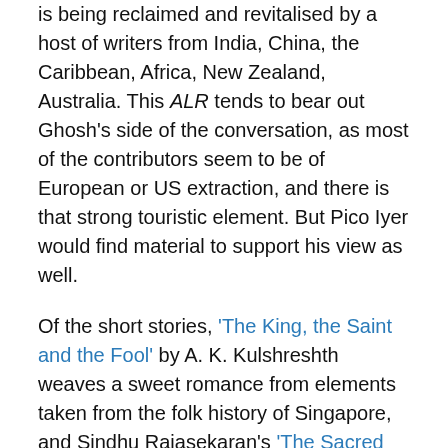is being reclaimed and revitalised by a host of writers from India, China, the Caribbean, Africa, New Zealand, Australia. This ALR tends to bear out Ghosh's side of the conversation, as most of the contributors seem to be of European or US extraction, and there is that strong touristic element. But Pico Iyer would find material to support his view as well.
Of the short stories, 'The King, the Saint and the Fool' by A. K. Kulshreshth weaves a sweet romance from elements taken from the folk history of Singapore, and Sindhu Rajasekaran's 'The Sacred Cow' tells a distinctly modern love story in the context of Indian village life. The essay that stands out is Michiel Hulshof's 'Special Academic and Art Zones'. Hulshof is a Dutch journalist living in China. Among other things his essay gives a fascinating account of the economic and political context